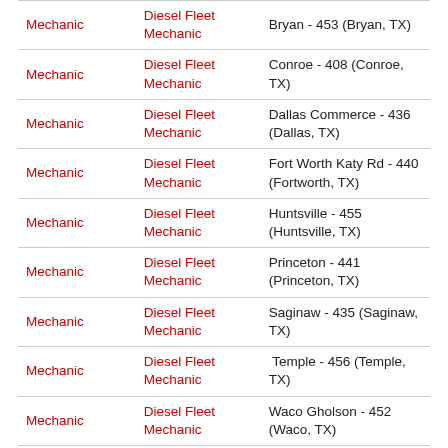| Mechanic | Diesel Fleet Mechanic | Bryan - 453 (Bryan, TX) |
| Mechanic | Diesel Fleet Mechanic | Conroe - 408 (Conroe, TX) |
| Mechanic | Diesel Fleet Mechanic | Dallas Commerce - 436 (Dallas, TX) |
| Mechanic | Diesel Fleet Mechanic | Fort Worth Katy Rd - 440 (Fortworth, TX) |
| Mechanic | Diesel Fleet Mechanic | Huntsville - 455 (Huntsville, TX) |
| Mechanic | Diesel Fleet Mechanic | Princeton - 441 (Princeton, TX) |
| Mechanic | Diesel Fleet Mechanic | Saginaw - 435 (Saginaw, TX) |
| Mechanic | Diesel Fleet Mechanic | Temple - 456 (Temple, TX) |
| Mechanic | Diesel Fleet Mechanic | Waco Gholson - 452 (Waco, TX) |